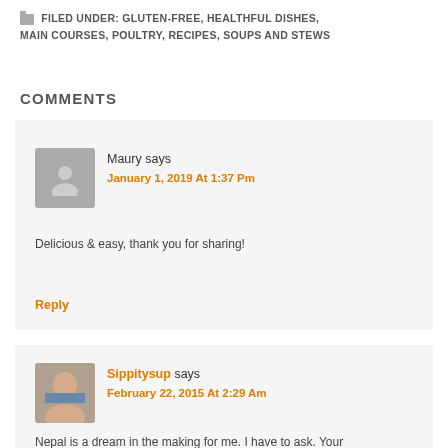FILED UNDER: GLUTEN-FREE, HEALTHFUL DISHES, MAIN COURSES, POULTRY, RECIPES, SOUPS AND STEWS
COMMENTS
Maury says
January 1, 2019 At 1:37 Pm

Delicious & easy, thank you for sharing!

Reply
Sippitysup says
February 22, 2015 At 2:29 Am

Nepal is a dream in the making for me. I have to ask. Your